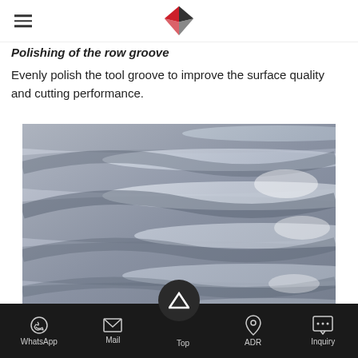Logo and navigation header
Polishing of the row groove
Evenly polish the tool groove to improve the surface quality and cutting performance.
[Figure (photo): Close-up macro photograph of polished helical flutes/grooves on a cutting tool or drill bit, showing metallic silver surface with curved groove channels reflecting light.]
[Figure (photo): Partial view of another tool or component below the main image, showing similar metallic fluted surface.]
WhatsApp | Mail | Top | ADR | Inquiry